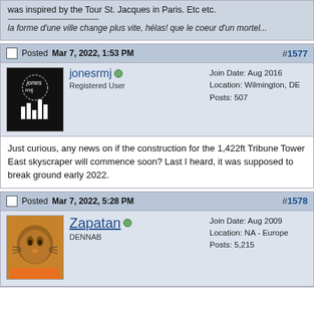was inspired by the Tour St. Jacques in Paris. Etc etc.
la forme d'une ville change plus vite, hélas! que le coeur d'un mortel...
Posted Mar 7, 2022, 1:53 PM   #1577
jonesrmj
Registered User
Join Date: Aug 2016
Location: Wilmington, DE
Posts: 507
Just curious, any news on if the construction for the 1,422ft Tribune Tower East skyscraper will commence soon? Last I heard, it was supposed to break ground early 2022.
Posted Mar 7, 2022, 5:28 PM   #1578
Zapatan
DENNAB
Join Date: Aug 2009
Location: NA - Europe
Posts: 5,215